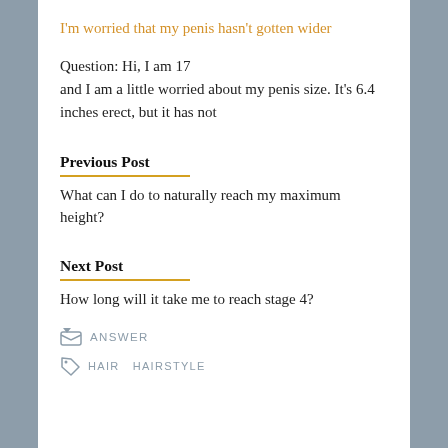I'm worried that my penis hasn't gotten wider
Question: Hi, I am 17 and I am a little worried about my penis size. It's 6.4 inches erect, but it has not
Previous Post
What can I do to naturally reach my maximum height?
Next Post
How long will it take me to reach stage 4?
ANSWER
HAIR   HAIRSTYLE